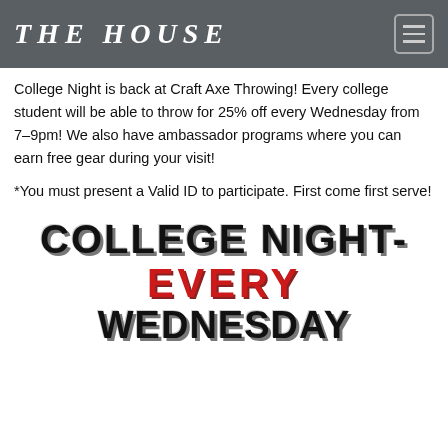THE HOUSE
College Night is back at Craft Axe Throwing! Every college student will be able to throw for 25% off every Wednesday from 7-9pm! We also have ambassador programs where you can earn free gear during your visit!
*You must present a Valid ID to participate. First come first serve!
COLLEGE NIGHT- EVERY WEDNESDAY